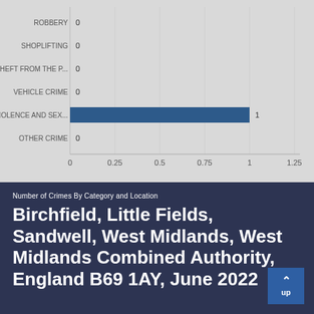[Figure (bar-chart): Number of Crimes By Category and Location]
Number of Crimes By Category and Location
Birchfield, Little Fields, Sandwell, West Midlands, West Midlands Combined Authority, England B69 1AY, June 2022